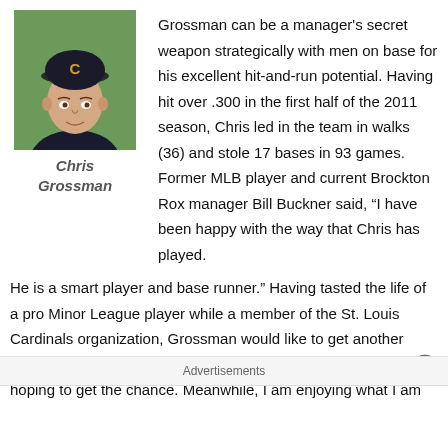[Figure (photo): Headshot photo of Chris Grossman wearing a dark cap with letter C, outdoors with green background]
Chris Grossman
Grossman can be a manager’s secret weapon strategically with men on base for his excellent hit-and-run potential. Having hit over .300 in the first half of the 2011 season, Chris led in the team in walks (36) and stole 17 bases in 93 games. Former MLB player and current Brockton Rox manager Bill Buckner said, “I have been happy with the way that Chris has played. He is a smart player and base runner.” Having tasted the life of a pro Minor League player while a member of the St. Louis Cardinals organization, Grossman would like to get another opportunity to break into the Big Leagues. He echoed, “I am still hoping to get the chance. Meanwhile, I am enjoying what I am
Advertisements